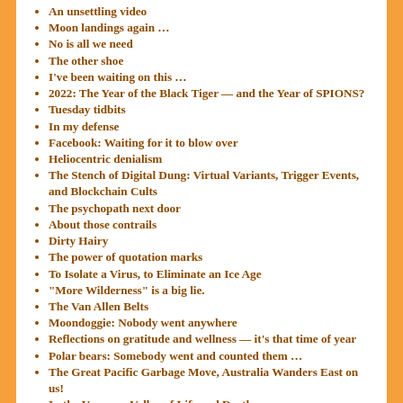An unsettling video
Moon landings again …
No is all we need
The other shoe
I've been waiting on this …
2022: The Year of the Black Tiger — and the Year of SPIONS?
Tuesday tidbits
In my defense
Facebook: Waiting for it to blow over
Heliocentric denialism
The Stench of Digital Dung: Virtual Variants, Trigger Events, and Blockchain Cults
The psychopath next door
About those contrails
Dirty Hairy
The power of quotation marks
To Isolate a Virus, to Eliminate an Ice Age
“More Wilderness” is a big lie.
The Van Allen Belts
Moondoggie: Nobody went anywhere
Reflections on gratitude and wellness — it’s that time of year
Polar bears: Somebody went and counted them …
The Great Pacific Garbage Move, Australia Wanders East on us!
In the Uncanny Valley of Life and Death
The Great Pacific Garbage Patch